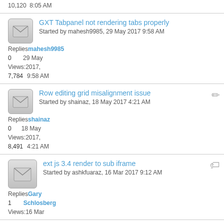10,120  8:05 AM
GXT Tabpanel not rendering tabs properly
Started by mahesh9985, 29 May 2017 9:58 AM
Replies: 0  mahesh9985  29 May 2017, 9:58 AM
Views: 7,784
Row editing grid misalignment issue
Started by shainaz, 18 May 2017 4:21 AM
Replies: 0  shainaz  18 May 2017, 4:21 AM
Views: 8,491
ext js 3.4 render to sub iframe
Started by ashkfuaraz, 16 Mar 2017 9:12 AM
Replies: 1  Gary Schlosberg  16 Mar
Views: